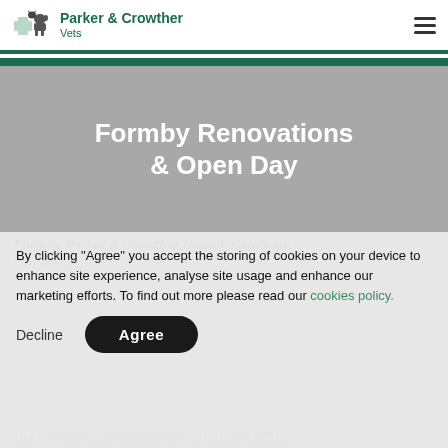Parker & Crowther Vets
Formby Renovations & Open Day
Formby Parker & Crowther Branch Celebrate Our Re...
By clicking "Agree" you accept the storing of cookies on your device to enhance site experience, analyse site usage and enhance our marketing efforts. To find out more please read our cookies policy.
Our Formby veterinary practice marked their £70,000...